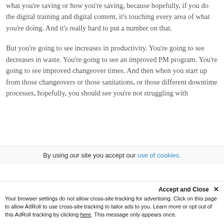what you're saving or how you're saving, because hopefully, if you do the digital training and digital content, it's touching every area of what you're doing. And it's really hard to put a number on that.
But you're going to see increases in productivity. You're going to see decreases in waste. You're going to see an improved PM program. You're going to see improved changeover times. And then when you start up from those changeovers or those sanitations, or those different downtime processes, hopefully, you should see you're not struggling with
By using our site you accept our use of cookies.
Accept and Close ✕
Your browser settings do not allow cross-site tracking for advertising. Click on this page to allow AdRoll to use cross-site tracking to tailor ads to you. Learn more or opt out of this AdRoll tracking by clicking here. This message only appears once.